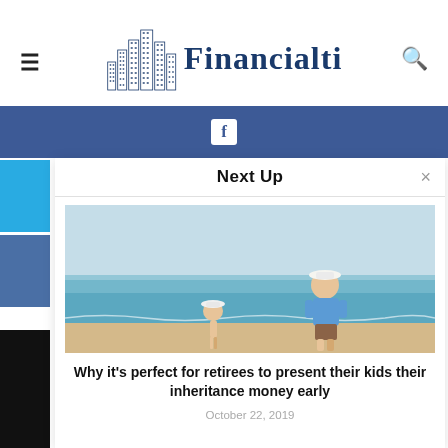Financialti
[Figure (screenshot): Next Up panel showing article preview: elderly man and child walking on beach. Article title: Why it's perfect for retirees to present their kids their inheritance money early. Date: October 22, 2019]